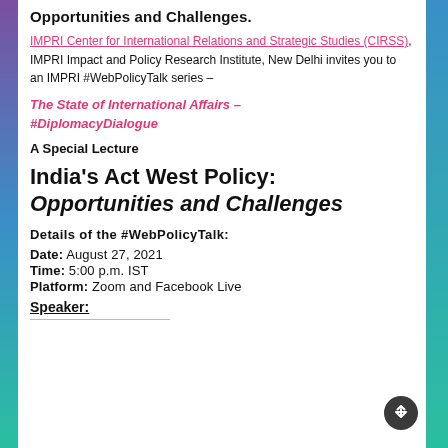Opportunities and Challenges.
IMPRI Center for International Relations and Strategic Studies (CIRSS), IMPRI Impact and Policy Research Institute, New Delhi invites you to an IMPRI #WebPolicyTalk series –
The State of International Affairs – #DiplomacyDialogue
A Special Lecture
India's Act West Policy: Opportunities and Challenges
Details of the #WebPolicyTalk:
Date: August 27, 2021
Time: 5:00 p.m. IST
Platform: Zoom and Facebook Live
Speaker: